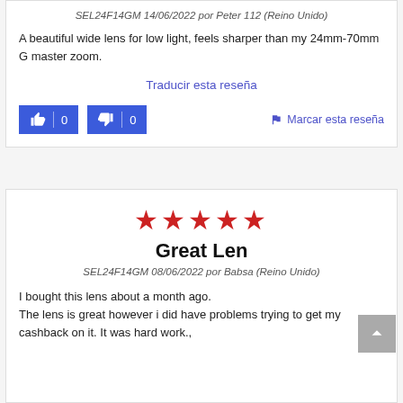SEL24F14GM  14/06/2022 por Peter 112 (Reino Unido)
A beautiful wide lens for low light, feels sharper than my 24mm-70mm G master zoom.
Traducir esta reseña
[Figure (other): Thumbs up vote button with count 0 and thumbs down vote button with count 0, plus flag link 'Marcar esta reseña']
[Figure (other): Five red star rating]
Great Len
SEL24F14GM  08/06/2022 por Babsa (Reino Unido)
I bought this lens about a month ago.
The lens is great however i did have problems trying to get my cashback on it. It was hard work.,